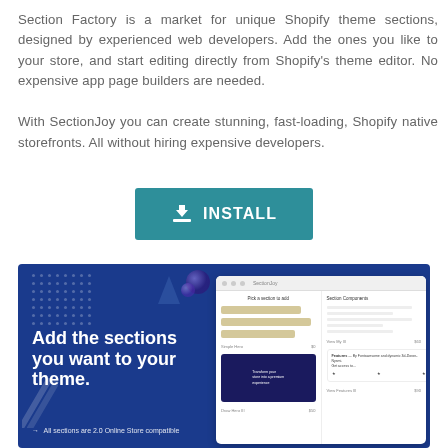Section Factory is a market for unique Shopify theme sections, designed by experienced web developers. Add the ones you like to your store, and start editing directly from Shopify's theme editor. No expensive app page builders are needed.

With SectionJoy you can create stunning, fast-loading, Shopify native storefronts. All without hiring expensive developers.
[Figure (other): Teal/green INSTALL button with download icon]
[Figure (screenshot): Dark blue promotional banner for SectionJoy showing 'Add the sections you want to your theme.' with a screenshot of the SectionJoy interface on the right side. Arrow note says 'All sections are 2.0 Online Store compatible'.]